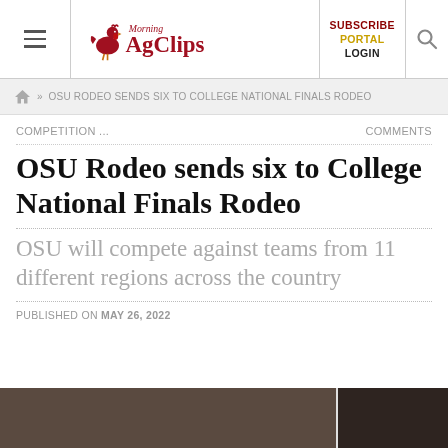Morning AgClips — SUBSCRIBE PORTAL LOGIN
» OSU RODEO SENDS SIX TO COLLEGE NATIONAL FINALS RODEO
COMPETITION ...
COMMENTS
OSU Rodeo sends six to College National Finals Rodeo
OSU will compete against teams from 11 different regions across the country
PUBLISHED ON MAY 26, 2022
[Figure (photo): Partial view of what appears to be a rodeo arena or livestock facility, dark interior photograph]